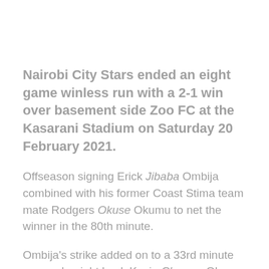Nairobi City Stars ended an eight game winless run with a 2-1 win over basement side Zoo FC at the Kasarani Stadium on Saturday 20 February 2021.
Offseason signing Erick Jibaba Ombija combined with his former Coast Stima team mate Rodgers Okuse Okumu to net the winner in the 80th minute.
Ombija's strike added on to a 33rd minute opener by right back Kevin Chumsy Okumu who made his debut for Simba wa Nairobi in the top flight. Both had never scored in the Premier